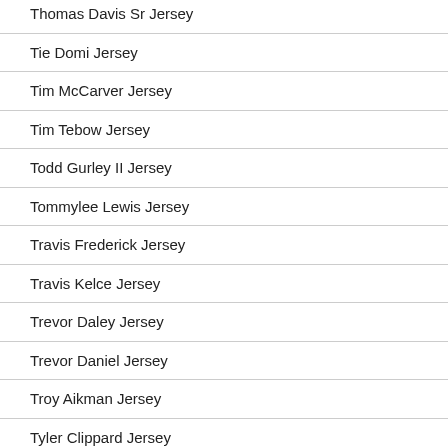Thomas Davis Sr Jersey
Tie Domi Jersey
Tim McCarver Jersey
Tim Tebow Jersey
Todd Gurley II Jersey
Tommylee Lewis Jersey
Travis Frederick Jersey
Travis Kelce Jersey
Trevor Daley Jersey
Trevor Daniel Jersey
Troy Aikman Jersey
Tyler Clippard Jersey